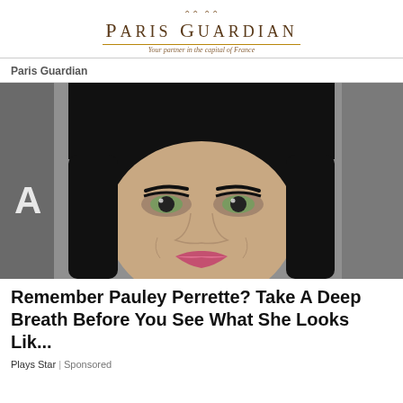[Figure (logo): Paris Guardian newspaper logo with ornamental top decoration, title in serif uppercase letters, thin gold rule lines, and italic subtitle 'Your partner in the capital of France']
Paris Guardian
[Figure (photo): Close-up photo of a woman with black hair and bangs, green eyes, wearing dark makeup and pink-red lipstick, smiling slightly against a grey background]
Remember Pauley Perrette? Take A Deep Breath Before You See What She Looks Lik...
Plays Star | Sponsored